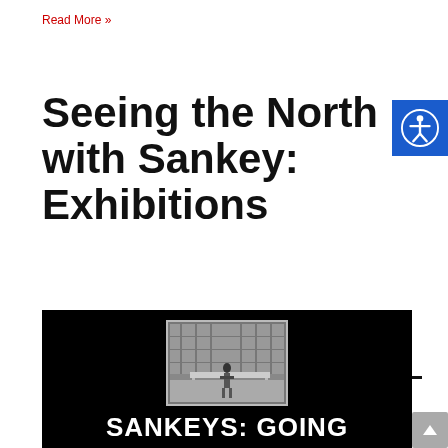Read More »
Seeing the North with Sankey: Exhibitions
Click on the boxes below to view our online exhibitions
[Figure (screenshot): Black background exhibition box showing a vintage black-and-white photograph of a factory/workshop interior with a person standing at a table, and white bold text below reading SANKEYS: GOING]
[Figure (logo): Blue square accessibility icon showing a stylized person with arms outstretched in a circle]